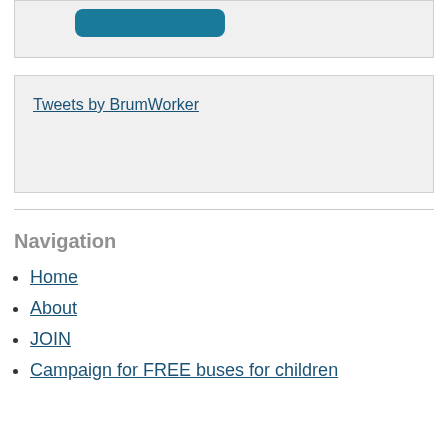[Figure (other): A teal/blue rounded button or badge partially visible at the top of the page]
Tweets by BrumWorker
Navigation
Home
About
JOIN
Campaign for FREE buses for children